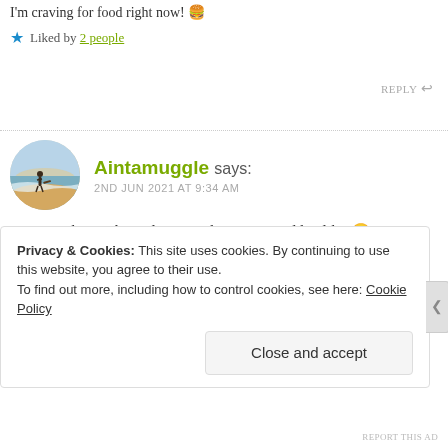I'm craving for food right now! 🍔
★ Liked by 2 people
REPLY ↩
Aintamuggle says: 2ND JUN 2021 AT 9:34 AM
Yessss. Oh, maybe order something nice and healthy 🙂
Privacy & Cookies: This site uses cookies. By continuing to use this website, you agree to their use.
To find out more, including how to control cookies, see here: Cookie Policy
Close and accept